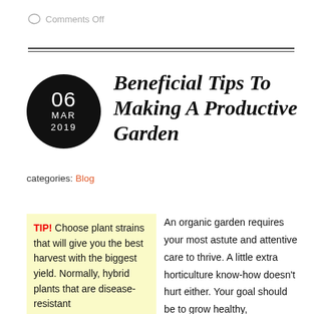Comments Off
Beneficial Tips To Making A Productive Garden
categories: Blog
TIP! Choose plant strains that will give you the best harvest with the biggest yield. Normally, hybrid plants that are disease-resistant
An organic garden requires your most astute and attentive care to thrive. A little extra horticulture know-how doesn't hurt either. Your goal should be to grow healthy,